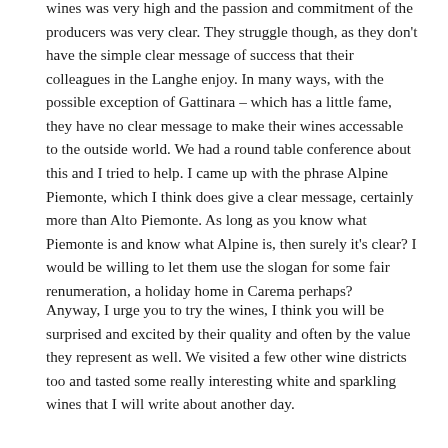wines was very high and the passion and commitment of the producers was very clear. They struggle though, as they don't have the simple clear message of success that their colleagues in the Langhe enjoy. In many ways, with the possible exception of Gattinara – which has a little fame, they have no clear message to make their wines accessable to the outside world. We had a round table conference about this and I tried to help. I came up with the phrase Alpine Piemonte, which I think does give a clear message, certainly more than Alto Piemonte. As long as you know what Piemonte is and know what Alpine is, then surely it's clear? I would be willing to let them use the slogan for some fair renumeration, a holiday home in Carema perhaps?
Anyway, I urge you to try the wines, I think you will be surprised and excited by their quality and often by the value they represent as well. We visited a few other wine districts too and tasted some really interesting white and sparkling wines that I will write about another day.